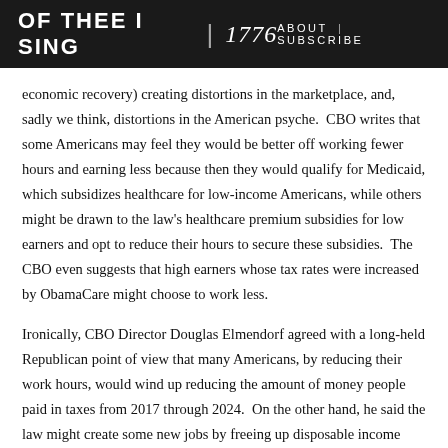OF THEE I SING | 1776   ABOUT | SUBSCRIBE
economic recovery) creating distortions in the marketplace, and, sadly we think, distortions in the American psyche.  CBO writes that some Americans may feel they would be better off working fewer hours and earning less because then they would qualify for Medicaid, which subsidizes healthcare for low-income Americans, while others might be drawn to the law's healthcare premium subsidies for low earners and opt to reduce their hours to secure these subsidies.  The CBO even suggests that high earners whose tax rates were increased by ObamaCare might choose to work less.
Ironically, CBO Director Douglas Elmendorf agreed with a long-held Republican point of view that many Americans, by reducing their work hours, would wind up reducing the amount of money people paid in taxes from 2017 through 2024.  On the other hand, he said the law might create some new jobs by freeing up disposable income previously set aside for health insurance.